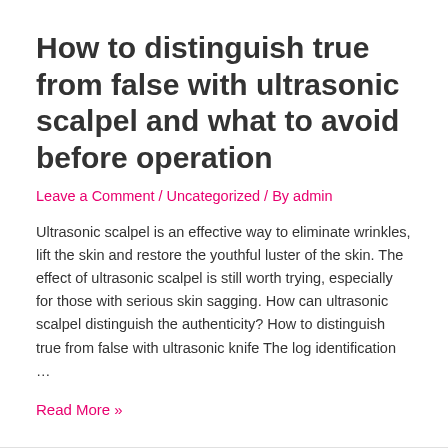How to distinguish true from false with ultrasonic scalpel and what to avoid before operation
Leave a Comment / Uncategorized / By admin
Ultrasonic scalpel is an effective way to eliminate wrinkles, lift the skin and restore the youthful luster of the skin. The effect of ultrasonic scalpel is still worth trying, especially for those with serious skin sagging. How can ultrasonic scalpel distinguish the authenticity? How to distinguish true from false with ultrasonic knife The log identification …
Read More »